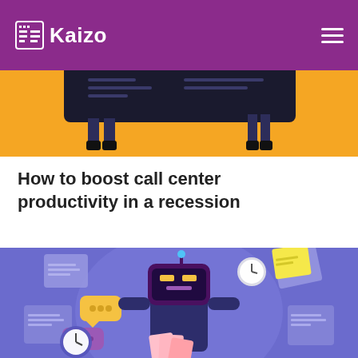Kaizo
[Figure (illustration): Top portion of an illustration showing two figures standing near a large dark screen or board, against a yellow/golden background. Part of a call center themed image.]
How to boost call center productivity in a recession
[Figure (illustration): Illustration of an animated character (robot or person with a screen for a head) surrounded by floating documents, chat bubbles, a clock/stopwatch, and papers, all against a purple/periwinkle circular background. Call center productivity themed.]